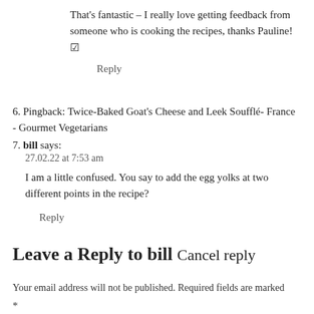That's fantastic – I really love getting feedback from someone who is cooking the recipes, thanks Pauline! 🙂
Reply
6. Pingback: Twice-Baked Goat's Cheese and Leek Soufflé- France - Gourmet Vegetarians
7. bill says:
27.02.22 at 7:53 am
I am a little confused. You say to add the egg yolks at two different points in the recipe?
Reply
Leave a Reply to bill Cancel reply
Your email address will not be published. Required fields are marked
*